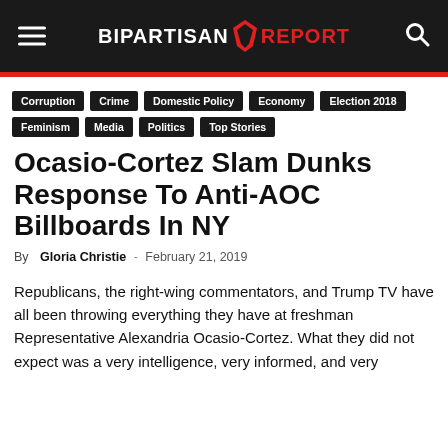BIPARTISAN REPORT
Corruption
Crime
Domestic Policy
Economy
Election 2018
Feminism
Media
Politics
Top Stories
Ocasio-Cortez Slam Dunks Response To Anti-AOC Billboards In NY
By Gloria Christie - February 21, 2019
Republicans, the right-wing commentators, and Trump TV have all been throwing everything they have at freshman Representative Alexandria Ocasio-Cortez. What they did not expect was a very intelligence, very informed, and very